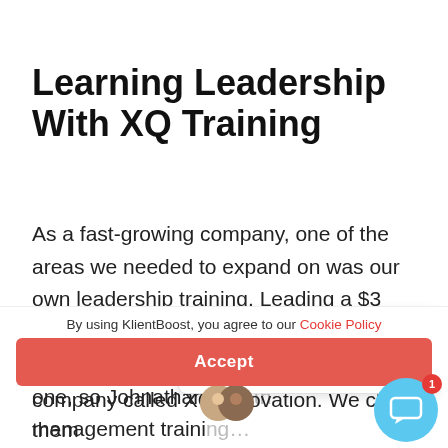Learning Leadership With XQ Training
As a fast-growing company, one of the areas we needed to expand on was our own leadership training. Leading a $3 m[illion company is] very different from leadi[ng a smaller] one, so Johnathan s[aw the need for] management traini[ng…]
KlientBoost
Hey there, we're seeing some marketing...
By using KlientBoost, you agree to our Cookie Policy
Accept
Fo[r leadership training, we found a] company called XQ Innovation. We chose them